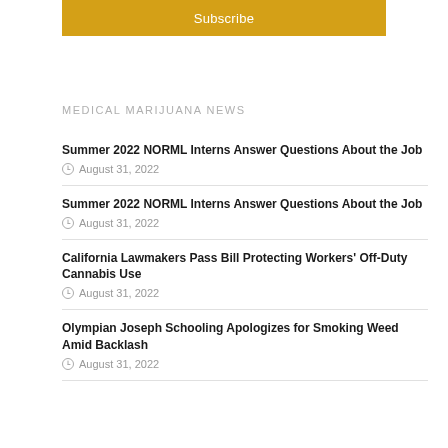[Figure (other): Golden/amber colored Subscribe button bar]
MEDICAL MARIJUANA NEWS
Summer 2022 NORML Interns Answer Questions About the Job — August 31, 2022
Summer 2022 NORML Interns Answer Questions About the Job — August 31, 2022
California Lawmakers Pass Bill Protecting Workers' Off-Duty Cannabis Use — August 31, 2022
Olympian Joseph Schooling Apologizes for Smoking Weed Amid Backlash — August 31, 2022